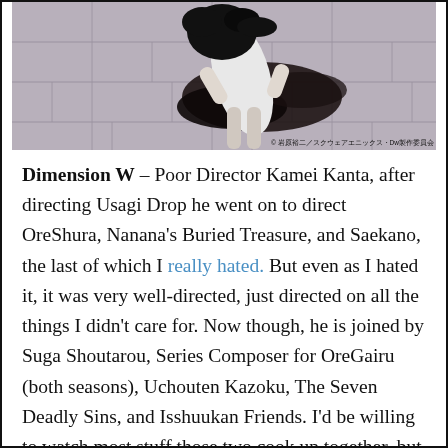[Figure (photo): Anime scene showing a character with black hair and white clothing lying on stone pavement, viewed from above. Copyright watermark in Japanese at bottom right.]
© 岩原裕二／スクウェアエニックス・Dw製作委員会
Dimension W – Poor Director Kamei Kanta, after directing Usagi Drop he went on to direct OreShura, Nanana's Buried Treasure, and Saekano, the last of which I really hated. But even as I hated it, it was very well-directed, just directed on all the things I didn't care for. Now though, he is joined by Suga Shoutarou, Series Composer for OreGairu (both seasons), Uchouten Kazoku, The Seven Deadly Sins, and Isshuukan Friends. I'd be willing to watch most stuff those two cook up together, but a gritty action-filled criminal-hunting, with some deeper musings on the side? Sign me right up. The lead reminds me of a cross between Lupin and Samurai